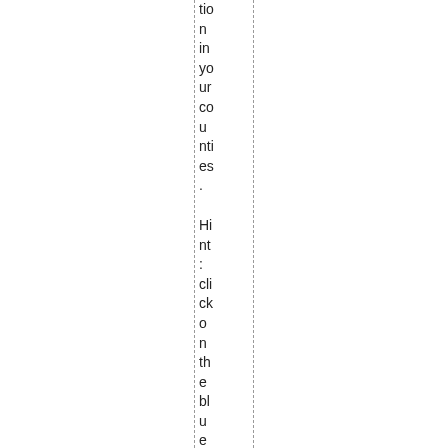tion in your counties.
Hint: click on the blue text “document